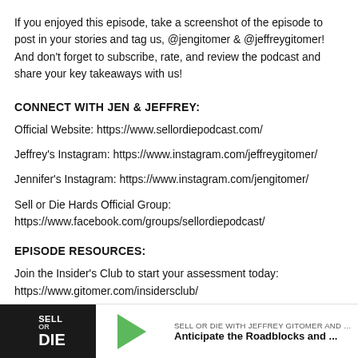If you enjoyed this episode, take a screenshot of the episode to post in your stories and tag us, @jengitomer & @jeffreygitomer! And don't forget to subscribe, rate, and review the podcast and share your key takeaways with us!
CONNECT WITH JEN & JEFFREY:
Official Website: https://www.sellordiepodcast.com/
Jeffrey's Instagram: https://www.instagram.com/jeffreygitomer/
Jennifer's Instagram: https://www.instagram.com/jengitomer/
Sell or Die Hards Official Group: https://www.facebook.com/groups/sellordiepodcast/
EPISODE RESOURCES:
Join the Insider's Club to start your assessment today: https://www.gitomer.com/insidersclub/
[Figure (screenshot): Bottom media player bar showing Sell or Die podcast logo, a green play button, and episode title 'Anticipate the Roadblocks and ...' with show name 'SELL OR DIE WITH JEFFREY GITOMER AND JENN']